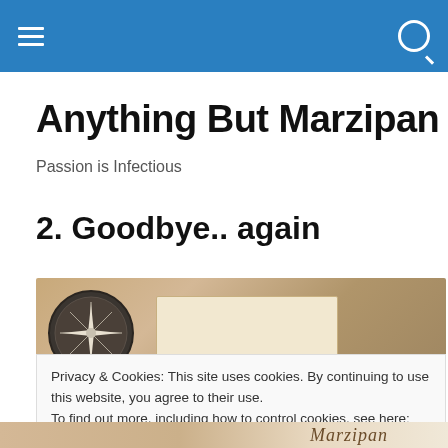navigation bar with menu and search icons
Anything But Marzipan
Passion is Infectious
2. Goodbye.. again
[Figure (photo): Banner image showing a compass on the left and an open book, with a vintage map background in warm brown and tan tones.]
Privacy & Cookies: This site uses cookies. By continuing to use this website, you agree to their use.
To find out more, including how to control cookies, see here: Cookie Policy
Close and accept